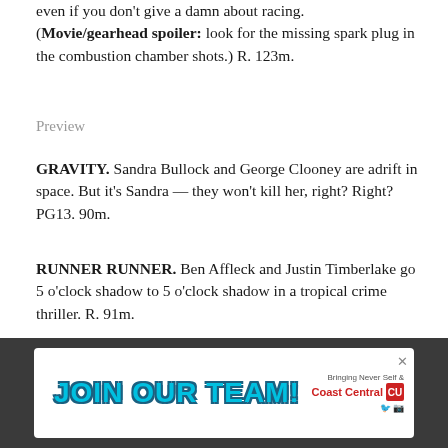even if you don't give a damn about racing. (Movie/gearhead spoiler: look for the missing spark plug in the combustion chamber shots.) R. 123m.
Preview
GRAVITY. Sandra Bullock and George Clooney are adrift in space. But it's Sandra — they won't kill her, right? Right? PG13. 90m.
RUNNER RUNNER. Ben Affleck and Justin Timberlake go 5 o'clock shadow to 5 o'clock shadow in a tropical crime thriller. R. 91m.
THANKS FOR SHARING. Hulk try keep pants on. Mark Ruffalo stars in a rom-com about sex addicts trying
[Figure (advertisement): JOIN OUR TEAM! advertisement banner for Coast Central Credit Union with teal bubble letters on white background, dark grey surround.]